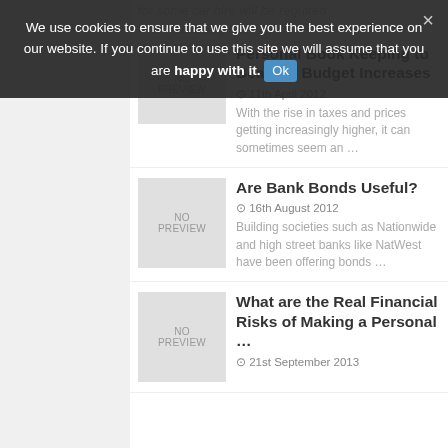We use cookies to ensure that we give you the best experience on our website. If you continue to use this site we will assume that you are happy with it. Ok ×
for some car hire will be required when travelling to…
Personal Book Keeping to Beat the Budget Increases
11th April 2012
With the rise in taxes and prices getting increasingly higher, it can sometimes seem an …
Are Bank Bonds Useful?
16th August 2012
Building societies such as Nationwide and high street banks like NatWest have been offering bonds …
What are the Real Financial Risks of Making a Personal …
21st September 2013